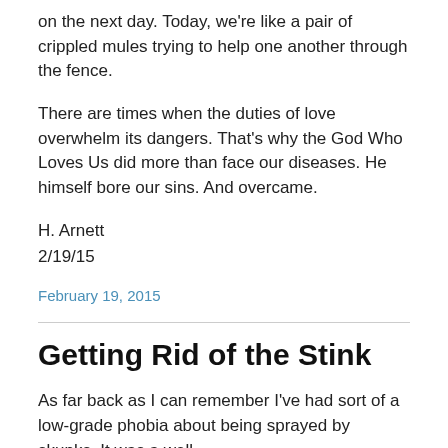on the next day. Today, we're like a pair of crippled mules trying to help one another through the fence.
There are times when the duties of love overwhelm its dangers. That's why the God Who Loves Us did more than face our diseases. He himself bore our sins. And overcame.
H. Arnett
2/19/15
February 19, 2015
Getting Rid of the Stink
As far back as I can remember I've had sort of a low-grade phobia about being sprayed by skunks. It was a well